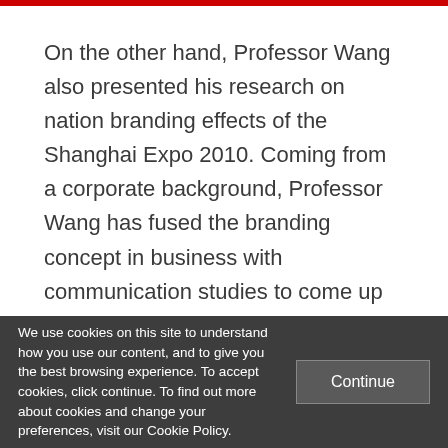On the other hand, Professor Wang also presented his research on nation branding effects of the Shanghai Expo 2010. Coming from a corporate background, Professor Wang has fused the branding concept in business with communication studies to come up with the idea that each national pavilions can be seen as a branded space, in
We use cookies on this site to understand how you use our content, and to give you the best browsing experience. To accept cookies, click continue. To find out more about cookies and change your preferences, visit our Cookie Policy.